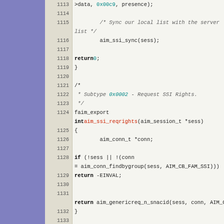[Figure (screenshot): Source code viewer showing C code for AIM SSI library functions, lines 1113-1141, with git blame annotations in the left gutter showing commit hashes [862371b], [5e53c4a], [e374dee], [cf02dd6], and line numbers in a beige column. Code includes functions aim_ssi_reqrights and parserights with syntax highlighting.]